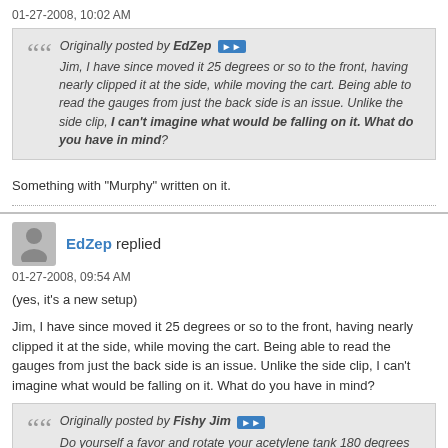01-27-2008, 10:02 AM
Originally posted by EdZep » Jim, I have since moved it 25 degrees or so to the front, having nearly clipped it at the side, while moving the cart. Being able to read the gauges from just the back side is an issue. Unlike the side clip, I can't imagine what would be falling on it. What do you have in mind?
Something with "Murphy" written on it.
EdZep replied
01-27-2008, 09:54 AM
(yes, it's a new setup)
Jim, I have since moved it 25 degrees or so to the front, having nearly clipped it at the side, while moving the cart. Being able to read the gauges from just the back side is an issue. Unlike the side clip, I can't imagine what would be falling on it. What do you have in mind?
Originally posted by Fishy Jim » Do yourself a favor and rotate your acetylene tank 180 degrees to get the regulator out of the path of danger. You don't want that valve subject to anything falling on it, and